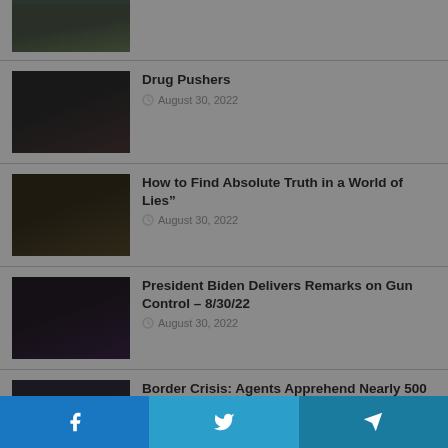[Figure (photo): Partial top image, cropped at top of page]
Drug Pushers
August 30, 2022
[Figure (photo): Dark hooded figure image thumbnail]
How to Find Absolute Truth in a World of Lies"
August 30, 2022
[Figure (photo): Open book on dark surface thumbnail]
President Biden Delivers Remarks on Gun Control – 8/30/22
August 30, 2022
[Figure (photo): Man speaking open-mouthed thumbnail]
Border Crisis: Agents Apprehend Nearly 500 Illegal Aliens in Three Large Groups
August 30, 2022
[Figure (photo): Military personnel at podium with seal thumbnail]
Facebook | Twitter | Telegram social share buttons